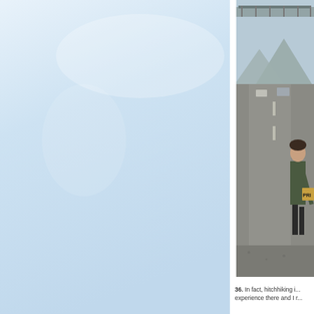[Figure (photo): Left portion: large photo showing a pale blue sky background, likely an outdoor scene cropped to show mostly sky.]
[Figure (photo): Right portion: photo of a person standing on the side of a road holding a cardboard sign that reads 'PRI' (partially visible), with cars, a road, mountains, and an overpass bridge visible in the background.]
36. In fact, hitchhiking i... experience there and I r...